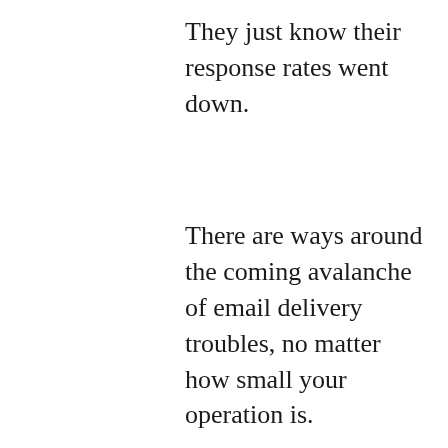They just know their response rates went down.
There are ways around the coming avalanche of email delivery troubles, no matter how small your operation is.
But for right now, the important thing is to make sure you’re getting email from me. That requires the confirmation click… and, if you didn’t get that email from john@johncarltonemail.com, you should first check your junk or bulk